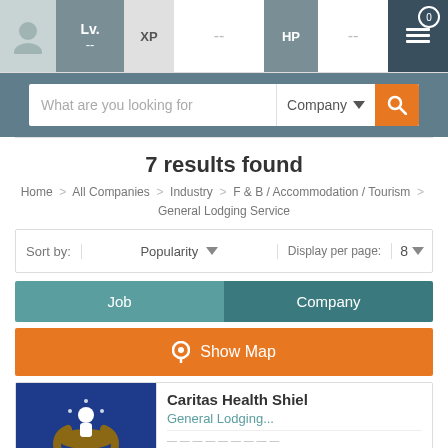Lv. -- | XP | -- | HP | --
What are you looking for | Company
7 results found
Home > All Companies > Industry > F & B / Accommodation / Tourism > General Lodging Service
Sort by: Popularity | Display per page: 8
Job | Company
Show Map
Caritas Health Shield
General Lodging...